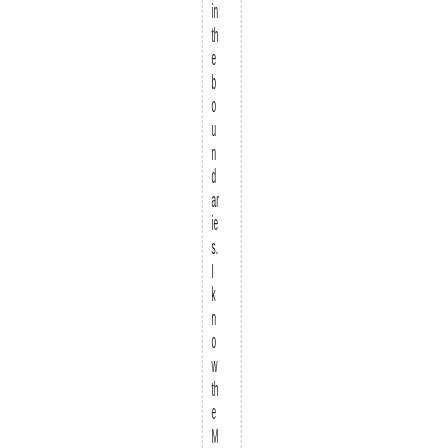in the boundaries. I know the Millwood is basically all